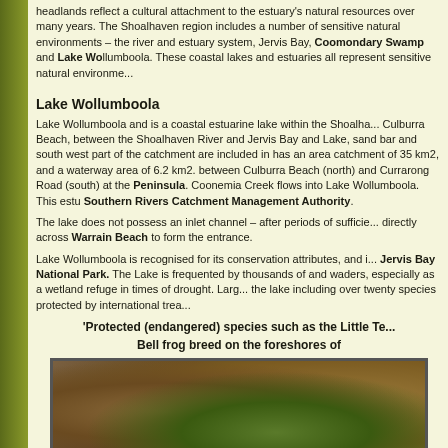headlands reflect a cultural attachment to the estuary's natural resources over many years. The Shoalhaven region includes a number of sensitive natural environments – the river and estuary system, Jervis Bay, Coomondary Swamp and Lake Wollumboola. These coastal lakes and estuaries all represent sensitive natural environments.
Lake Wollumboola
Lake Wollumboola and is a coastal estuarine lake within the Shoalhaven area, near Culburra Beach, between the Shoalhaven River and Jervis Bay and Nowra. The Lake, sand bar and south west part of the catchment are included in the Jervis Bay National Park. It has an area catchment of 35 km2, and a waterway area of 6.2 km2. The lake is situated between Culburra Beach (north) and Currarong Road (south) at the northern end of Beecroft Peninsula. Coonemia Creek flows into Lake Wollumboola. This estuary is managed by the Southern Rivers Catchment Management Authority.
The lake does not possess an inlet channel – after periods of sufficient rainfall, water cuts directly across Warrain Beach to form the entrance.
Lake Wollumboola is recognised for its conservation attributes, and is incorporated within Jervis Bay National Park. The Lake is frequented by thousands of migratory shorebirds and waders, especially as a wetland refuge in times of drought. Large numbers of birds visit the lake including over twenty species protected by international treaties.
'Protected (endangered) species such as the Little Tern and Green and Golden Bell frog breed on the foreshores of
[Figure (photo): Close-up photograph of a green and golden Bell frog on foliage with brown/orange background]